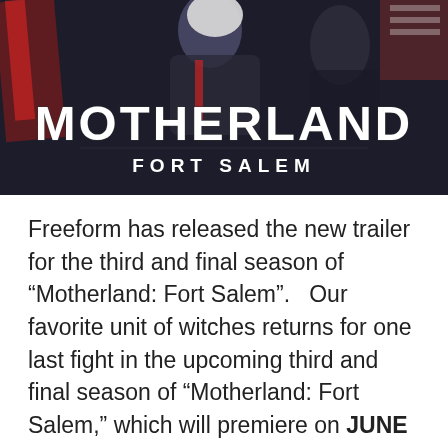[Figure (photo): Hero image for Motherland: Fort Salem TV show. Dark background with a figure wearing a military-style uniform with white hair, dramatic pose. Large stylized text 'MOTHERLAND' in blocky white letters, with 'FORT SALEM' below in smaller white caps.]
Freeform has released the new trailer for the third and final season of “Motherland: Fort Salem”.   Our favorite unit of witches returns for one last fight in the upcoming third and final season of “Motherland: Fort Salem,” which will premiere on JUNE 21 on Freeform at 10:00 p.m. EDT/PDT and will be available to stream the next day on Hulu